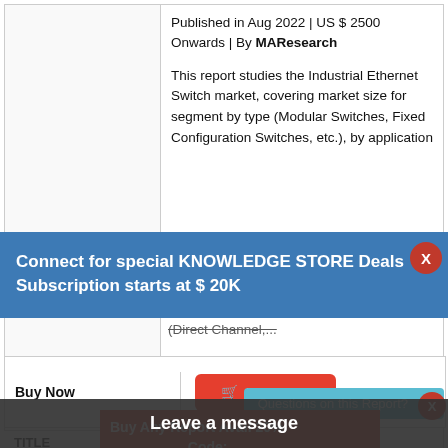Published in Aug 2022 | US $ 2500 Onwards | By MAResearch
This report studies the Industrial Ethernet Switch market, covering market size for segment by type (Modular Switches, Fixed Configuration Switches, etc.), by application
(Direct Channel,...
Connect for special KNOWLEDGE STORE Deals
Subscription starts at $ 20K
Buy Now
Buy Now
Questions on this Report?
Buy Any Report Avail 20% Code:
Leave a message
TITLE